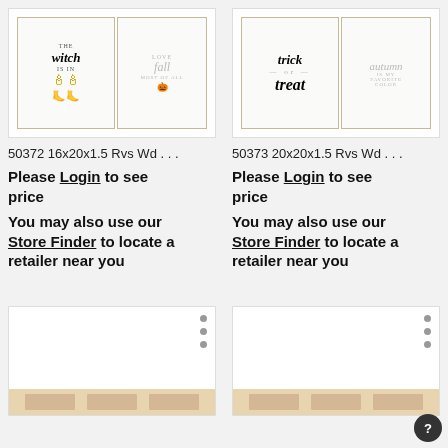[Figure (photo): Product image of two framed signs: 'The witch is in' and 'Love fall most of all' with pumpkins]
50372 16x20x1.5 Rvs Wd ...
Please Login to see price
You may also use our Store Finder to locate a retailer near you
[Figure (photo): Product image of two framed signs: 'trick or treat' and 'autumn is my favorite color']
50373 20x20x1.5 Rvs Wd ...
Please Login to see price
You may also use our Store Finder to locate a retailer near you
[Figure (photo): Partial product image bottom left, showing framed Halloween/fall signs]
[Figure (photo): Partial product image bottom right, showing framed Halloween/fall signs]